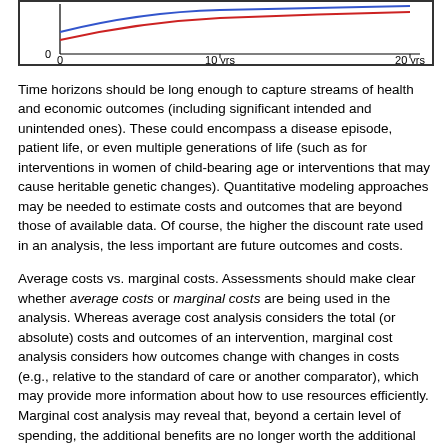[Figure (continuous-plot): Bottom portion of a line chart showing values over time from 0 to 20 years. X-axis labeled '0', '10 yrs', '20 yrs'. Y-axis shows '0' at bottom. Two lines (one blue/dark, one red) are partially visible at the top of the cropped chart.]
Time horizons should be long enough to capture streams of health and economic outcomes (including significant intended and unintended ones). These could encompass a disease episode, patient life, or even multiple generations of life (such as for interventions in women of child-bearing age or interventions that may cause heritable genetic changes). Quantitative modeling approaches may be needed to estimate costs and outcomes that are beyond those of available data. Of course, the higher the discount rate used in an analysis, the less important are future outcomes and costs.
Average costs vs. marginal costs. Assessments should make clear whether average costs or marginal costs are being used in the analysis. Whereas average cost analysis considers the total (or absolute) costs and outcomes of an intervention, marginal cost analysis considers how outcomes change with changes in costs (e.g., relative to the standard of care or another comparator), which may provide more information about how to use resources efficiently. Marginal cost analysis may reveal that, beyond a certain level of spending, the additional benefits are no longer worth the additional costs. For example, as shown in Box V-5, the average